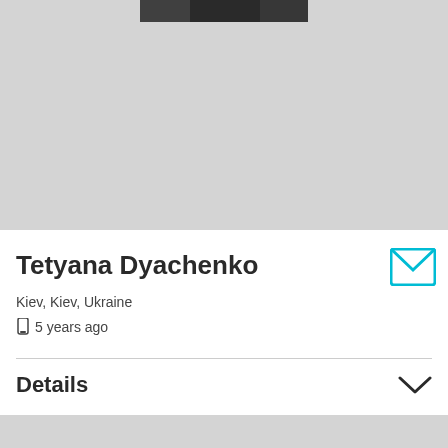[Figure (photo): Dark strip at top representing a cropped profile photo area]
Tetyana Dyachenko
Kiev, Kiev, Ukraine
5 years ago
Details